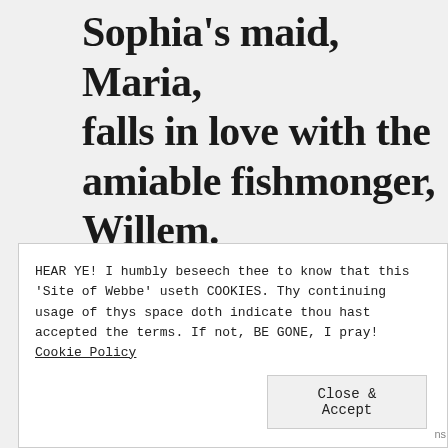Sophia's maid, Maria, falls in love with the amiable fishmonger, Willem.
HEAR YE! I humbly beseech thee to know that this 'Site of Webbe' useth COOKIES. Thy continuing usage of thys space doth indicate thou hast accepted the terms. If not, BE GONE, I pray! Cookie Policy